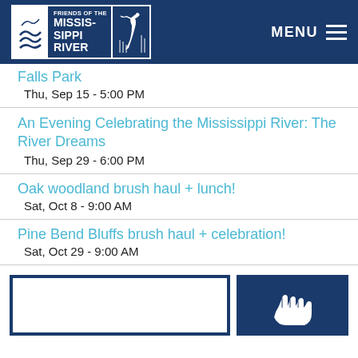Friends of the Mississippi River - MENU
Falls Park
Thu, Sep 15 - 5:00 PM
An Evening Celebrating the Mississippi River: The River Dreams
Thu, Sep 29 - 6:00 PM
Oak woodland brush haul + lunch!
Sat, Oct 8 - 9:00 AM
Pine Bend Bluffs brush haul + celebration!
Sat, Oct 29 - 9:00 AM
[Figure (illustration): Two promotional image boxes at bottom: left is white-bordered rectangle, right is dark blue rectangle with a white hand/wave logo icon]